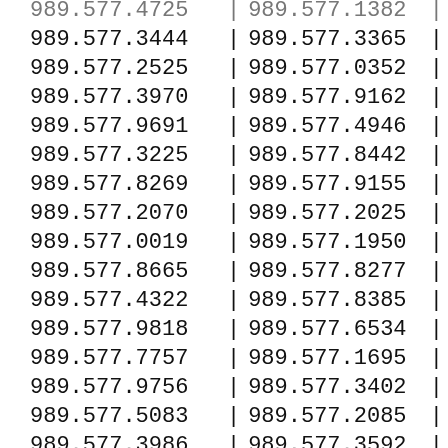| col1 | col2 |
| --- | --- |
| 989.577.4725 | 989.577.1382 |
| 989.577.3444 | 989.577.3365 |
| 989.577.2525 | 989.577.0352 |
| 989.577.3970 | 989.577.9162 |
| 989.577.9691 | 989.577.4946 |
| 989.577.3225 | 989.577.8442 |
| 989.577.8269 | 989.577.9155 |
| 989.577.2070 | 989.577.2025 |
| 989.577.0019 | 989.577.1950 |
| 989.577.8665 | 989.577.8277 |
| 989.577.4322 | 989.577.8385 |
| 989.577.9818 | 989.577.6534 |
| 989.577.7757 | 989.577.1695 |
| 989.577.9756 | 989.577.3402 |
| 989.577.5083 | 989.577.2085 |
| 989.577.3986 | 989.577.3592 |
| 989.577.1341 | 989.577.2415 |
| 989.577.1783 | 989.577.7630 |
| 989.577.6566 | 989.577.0629 |